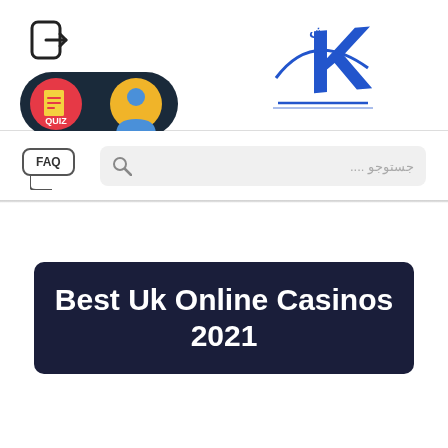[Figure (logo): Login/arrow icon top left]
[Figure (logo): QUIZ pill badge with quiz icon and person avatar]
[Figure (logo): Blue Arabic/Persian script logo (JK style) top right]
[Figure (logo): FAQ speech bubble badge]
[Figure (screenshot): Search bar with Persian placeholder text جستوجو....]
Best Uk Online Casinos 2021